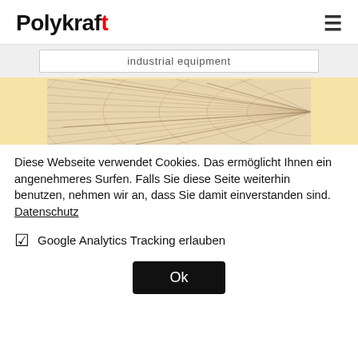Polykraft
industrial equipment
[Figure (photo): Close-up cross-section of wood grain showing growth rings and radial lines on a pale wooden surface.]
Diese Webseite verwendet Cookies. Das ermöglicht Ihnen ein angenehmeres Surfen. Falls Sie diese Seite weiterhin benutzen, nehmen wir an, dass Sie damit einverstanden sind. Datenschutz
☑  Google Analytics Tracking erlauben
Ok